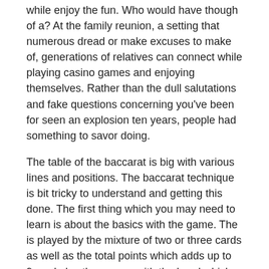while enjoy the fun. Who would have though of a? At the family reunion, a setting that numerous dread or make excuses to make of, generations of relatives can connect while playing casino games and enjoying themselves. Rather than the dull salutations and fake questions concerning you've been for seen an explosion ten years, people had something to savor doing.
The table of the baccarat is big with various lines and positions. The baccarat technique is bit tricky to understand and getting this done. The first thing which you may need to learn is about the basics with the game. The is played by the mixture of two or three cards as well as the total points which adds up to 9, and also the person with the hand which close to nine wins the gaming. The betting in the game is done according for the better hand and the banker. There are 2 options for betting in the baccarat game, you both bet to your player maybe the banker. The price money is much more if won by you the bet of a player, like includes double the of money which possess to bet.
Before I acquire specifics, I'd like to debunk the biggest myth of. Contrary to popular opinion, card counters do not have to be excessively are able of math. Tend not to have staying highly smart. They don't must have a lick of common discern. All that a card counter has for you to do is simple math. And through simple math, I mean that